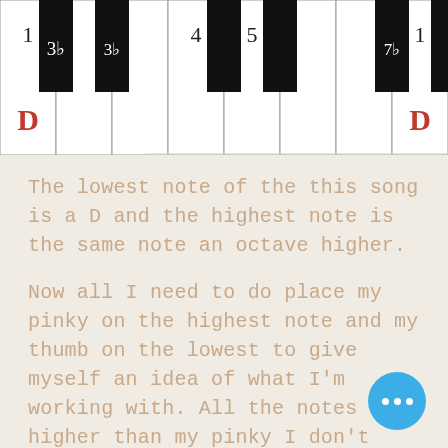[Figure (illustration): Piano keyboard diagram showing one octave with scale degree numbers. Keys labeled: 1 (D, red), 3b, 4, 5, 7b, 1 (D, red). Black keys are shown above white keys.]
The lowest note of the this song is a D and the highest note is the same note an octave higher.
Now all I need to do place my pinky on the highest note and my thumb on the lowest to give myself an idea of what I'm working with. All the notes higher than my pinky I don't need to worry about and the same with everything below my thumb. I then play all the notes in the song working my way from the lowest note up to the highest note and then back down again. This...